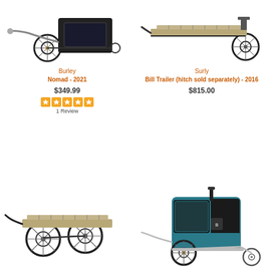[Figure (photo): Burley Nomad 2021 bike trailer - black cargo trailer with yellow wheel accents and hitch arm, side view]
Burley
Nomad - 2021
$349.99
[Figure (other): 5 orange star rating boxes]
1 Review
[Figure (photo): Surly Bill Trailer (hitch sold separately) 2016 - flat cargo platform trailer, grey/black, side view]
Surly
Bill Trailer (hitch sold separately) - 2016
$815.00
[Figure (photo): Surly Bill Trailer bottom image - flat platform cargo trailer with two wheels, angled view]
[Figure (photo): Burley pet trailer - teal and black enclosed trailer with stroller wheel, side view]